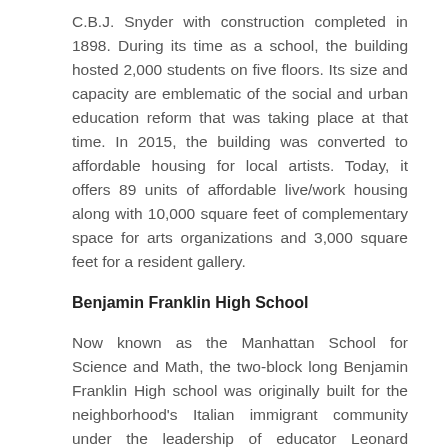C.B.J. Snyder with construction completed in 1898. During its time as a school, the building hosted 2,000 students on five floors. Its size and capacity are emblematic of the social and urban education reform that was taking place at that time. In 2015, the building was converted to affordable housing for local artists. Today, it offers 89 units of affordable live/work housing along with 10,000 square feet of complementary space for arts organizations and 3,000 square feet for a resident gallery.
Benjamin Franklin High School
Now known as the Manhattan School for Science and Math, the two-block long Benjamin Franklin High school was originally built for the neighborhood's Italian immigrant community under the leadership of educator Leonard Covello. Opened in 1942, the brick and limestone Georgian Revival-style building overlooks the Harlem River at Pleasant Avenue and East 116th Street.
At the time it was built, the building offered abilities...